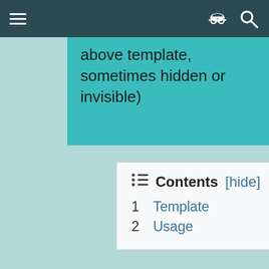☰  [incognito icon] [search icon]
above template, sometimes hidden or invisible)
Contents [hide]
1 Template
2 Usage
{{Cosmos}} is for use in any article about an astronomical object in the Starfinder campaign setting. Some parameters are optional and can be left blank; if undefined, these